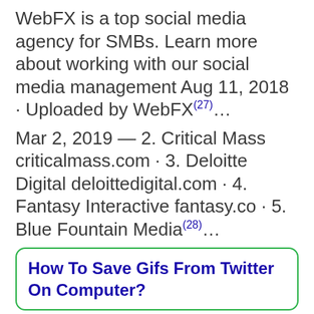WebFX is a top social media agency for SMBs. Learn more about working with our social media management Aug 11, 2018 · Uploaded by WebFX(27)...
Mar 2, 2019 — 2. Critical Mass criticalmass.com · 3. Deloitte Digital deloittedigital.com · 4. Fantasy Interactive fantasy.co · 5. Blue Fountain Media(28)...
How To Save Gifs From Twitter On Computer?
What Does A Poke Mean On Facebook?